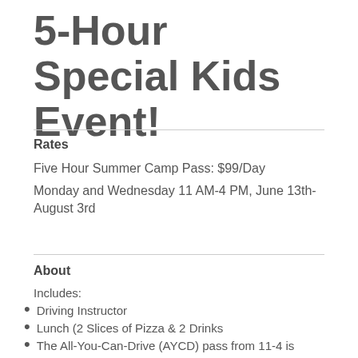5-Hour Special Kids Event!
Rates
Five Hour Summer Camp Pass: $99/Day
Monday and Wednesday 11 AM-4 PM, June 13th-August 3rd
About
Includes:
Driving Instructor
Lunch (2 Slices of Pizza & 2 Drinks
The All-You-Can-Drive (AYCD) pass from 11-4 is available to Kid Racers who are at least 48 inches tall